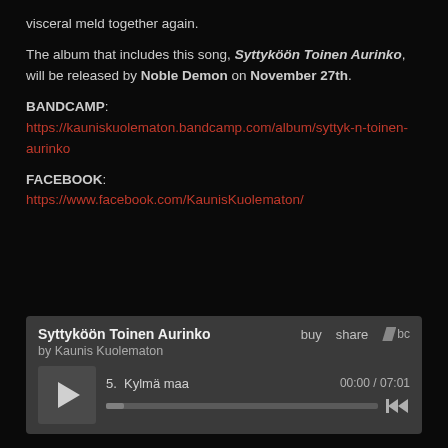visceral meld together again.
The album that includes this song, Syttyköön Toinen Aurinko, will be released by Noble Demon on November 27th.
BANDCAMP: https://kauniskuolematon.bandcamp.com/album/syttyk-n-toinen-aurinko
FACEBOOK: https://www.facebook.com/KaunisKuolematon/
[Figure (screenshot): Bandcamp embedded music player showing album 'Syttyköön Toinen Aurinko' by Kaunis Kuolematon, track 5 Kylmä maa, 00:00 / 07:01]